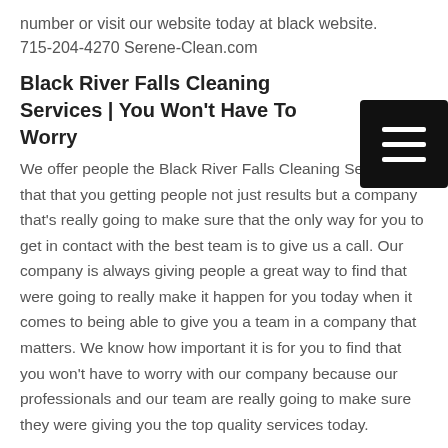number or visit our website today at black website. 715-204-4270 Serene-Clean.com
Black River Falls Cleaning Services | You Won't Have To Worry
We offer people the Black River Falls Cleaning Services that that you getting people not just results but a company that's really going to make sure that the only way for you to get in contact with the best team is to give us a call. Our company is always giving people a great way to find that were going to really make it happen for you today when it comes to being able to give you a team in a company that matters. We know how important it is for you to find that you won't have to worry with our company because our professionals and our team are really going to make sure they were giving you the top quality services today.
In order to get the Black River Falls Cleaning Services